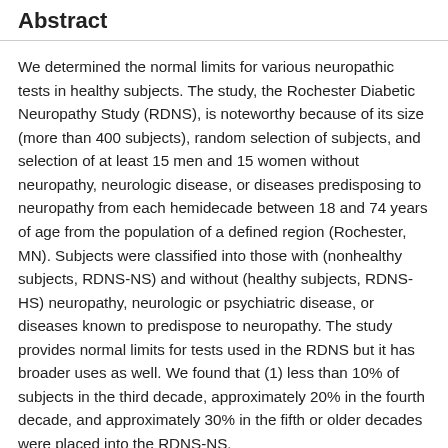Abstract
We determined the normal limits for various neuropathic tests in healthy subjects. The study, the Rochester Diabetic Neuropathy Study (RDNS), is noteworthy because of its size (more than 400 subjects), random selection of subjects, and selection of at least 15 men and 15 women without neuropathy, neurologic disease, or diseases predisposing to neuropathy from each hemidecade between 18 and 74 years of age from the population of a defined region (Rochester, MN). Subjects were classified into those with (nonhealthy subjects, RDNS-NS) and without (healthy subjects, RDNS-HS) neuropathy, neurologic or psychiatric disease, or diseases known to predispose to neuropathy. The study provides normal limits for tests used in the RDNS but it has broader uses as well. We found that (1) less than 10% of subjects in the third decade, approximately 20% in the fourth decade, and approximately 30% in the fifth or older decades were placed into the RDNS-NS.